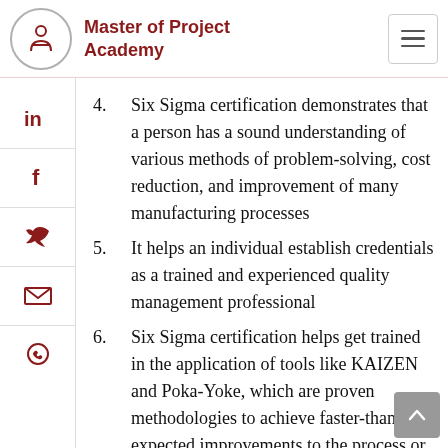Master of Project Academy
Six Sigma certification demonstrates that a person has a sound understanding of various methods of problem-solving, cost reduction, and improvement of many manufacturing processes
It helps an individual establish credentials as a trained and experienced quality management professional
Six Sigma certification helps get trained in the application of tools like KAIZEN and Poka-Yoke, which are proven methodologies to achieve faster-than-expected improvements to the process or